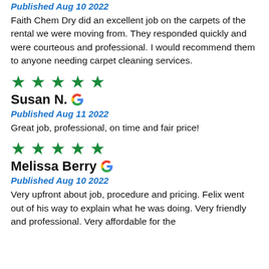Published Aug 10 2022
Faith Chem Dry did an excellent job on the carpets of the rental we were moving from. They responded quickly and were courteous and professional. I would recommend them to anyone needing carpet cleaning services.
[Figure (other): Five green stars rating]
Susan N.
Published Aug 11 2022
Great job, professional, on time and fair price!
[Figure (other): Five green stars rating]
Melissa Berry
Published Aug 10 2022
Very upfront about job, procedure and pricing. Felix went out of his way to explain what he was doing. Very friendly and professional. Very affordable for the